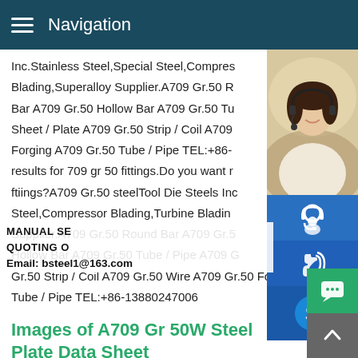Navigation
Inc.Stainless Steel,Special Steel,Compres Blading,Superalloy Supplier.A709 Gr.50 R Bar A709 Gr.50 Hollow Bar A709 Gr.50 Tu Sheet / Plate A709 Gr.50 Strip / Coil A709 Forging A709 Gr.50 Tube / Pipe TEL:+86-results for 709 gr 50 fittings.Do you want r ftiings?A709 Gr.50 steelTool Die Steels Inc Steel,Compressor Blading,Turbine Blading Supplier.A709 Gr.50 Round Bar A709 Gr.5 Hollow Bar A709 Gr.50 Tube / Pipe A709 G Gr.50 Strip / Coil A709 Gr.50 Wire A709 Gr.50 Forging A709 Gr.50 Tube / Pipe TEL:+86-13880247006
[Figure (photo): Customer service representative woman with headset smiling]
[Figure (infographic): Blue button with headset/support icon]
[Figure (infographic): Blue button with phone/call icon]
[Figure (infographic): Blue button with Skype icon]
MANUAL SE QUOTING O Email: bsteel1@163.com
Images of A709 Gr 50W Steel Plate Data Sheet
imagesA709 Gr.50 steelTool Die Steels Inc.Stainless Steel,Sp